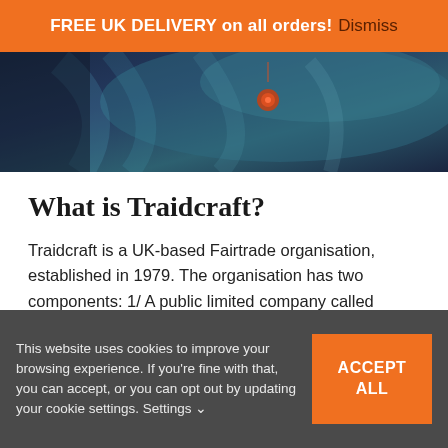FREE UK DELIVERY on all orders! Dismiss
[Figure (photo): Close-up photo of blue/teal fabric with dark background and a small orange/red decorative element]
What is Traidcraft?
Traidcraft is a UK-based Fairtrade organisation, established in 1979. The organisation has two components: 1/ A public limited company called Traidcraft plc, which sells fairly traded products in the United Kingdom - fighting poverty through trade. It works with people of all faiths and none, to
This website uses cookies to improve your browsing experience. If you're fine with that, you can accept, or you can opt out by updating your cookie settings. Settings ∨  ACCEPT ALL